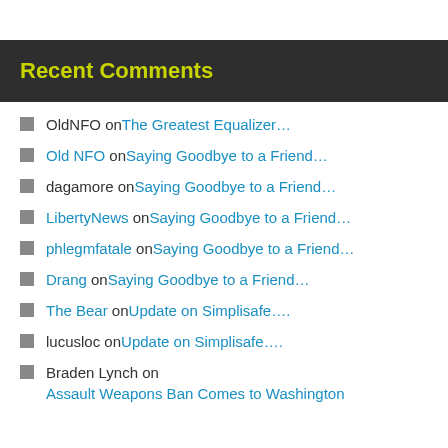Recent Comments
OldNFO on The Greatest Equalizer…
Old NFO on Saying Goodbye to a Friend…
dagamore on Saying Goodbye to a Friend…
LibertyNews on Saying Goodbye to a Friend…
phlegmfatale on Saying Goodbye to a Friend…
Drang on Saying Goodbye to a Friend…
The Bear on Update on Simplisafe….
lucusloc on Update on Simplisafe….
Braden Lynch on Assault Weapons Ban Comes to Washington